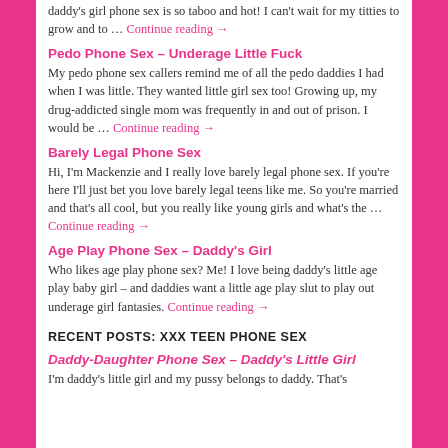daddy's girl phone sex is so taboo and hot! I can't wait for my titties to grow and to … Continue reading →
Pedo Phone Sex – Underage Little Fuck
My pedo phone sex callers remind me of all the pedo daddies I had when I was little. They wanted little girl sex too! Growing up, my drug-addicted single mom was frequently in and out of prison. I would be … Continue reading →
Barely Legal Phone Sex
Hi, I'm Mackenzie and I really love barely legal phone sex. If you're here I'll just bet you love barely legal teens like me. So you're married and that's all cool, but you really like young girls and what's the … Continue reading →
Age Play Phone Sex – Daddy's Girl
Who likes age play phone sex? Me! I love being daddy's little age play baby girl – and daddies want a little age play slut to play out underage girl fantasies. Continue reading →
RECENT POSTS: XXX TEEN PHONE SEX
Daddy-Daughter Phone Sex – Daddy's Little Girl
I'm daddy's little girl and my pussy belongs to daddy. That's